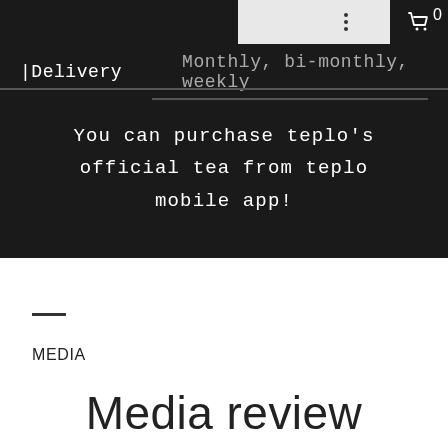[Figure (screenshot): Dark-background web app UI showing navigation bar with JP language selector and cart icon showing 0, tabs for Delivery and Monthly bi-monthly weekly, and centered promotional text]
You can purchase teplo's official tea from teplo mobile app!
MEDIA
Media review